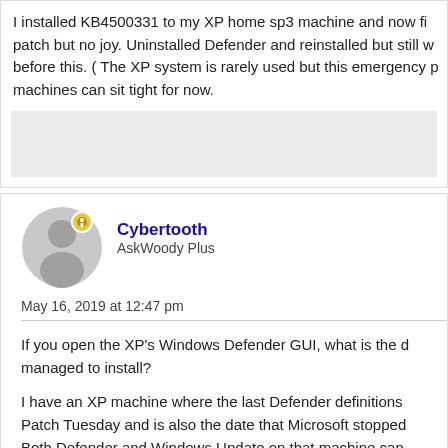I installed KB4500331 to my XP home sp3 machine and now fi... patch but no joy. Uninstalled Defender and reinstalled but still w... before this. ( The XP system is rarely used but this emergency p... machines can sit tight for now.
[Figure (other): Grey placeholder box (advertisement or image area)]
[Figure (other): User avatar: grey circle with silhouette figure, small badge icon overlay]
Cybertooth
AskWoody Plus
May 16, 2019 at 12:47 pm
If you open the XP's Windows Defender GUI, what is the d... managed to install?
I have an XP machine where the last Defender definitions ... Patch Tuesday and is also the date that Microsoft stopped... Both Defender and Windows Update on that machine can... prompted they try to install it, but the installation always fa... from the Update Catalog doesn't do the trick, either.